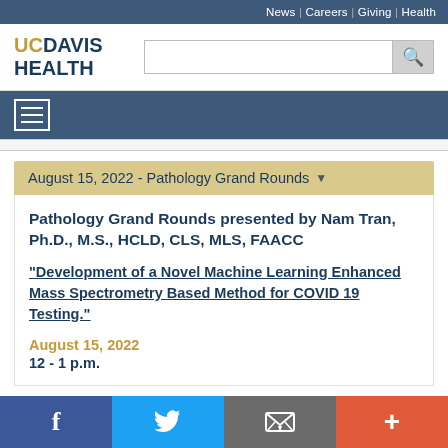News | Careers | Giving | Health
[Figure (logo): UC Davis Health logo with gold 'UC' and navy 'DAVIS HEALTH' text]
August 15, 2022 - Pathology Grand Rounds
Pathology Grand Rounds presented by Nam Tran, Ph.D., M.S., HCLD, CLS, MLS, FAACC
"Development of a Novel Machine Learning Enhanced Mass Spectrometry Based Method for COVID 19 Testing."
August 15, 2022
12 - 1 p.m.
[Figure (infographic): Social media bar with Facebook, Twitter, email, and plus buttons]